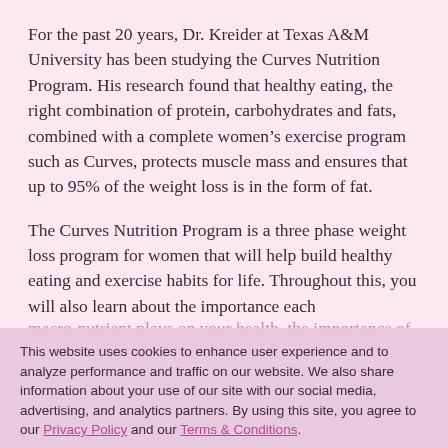For the past 20 years, Dr. Kreider at Texas A&M University has been studying the Curves Nutrition Program. His research found that healthy eating, the right combination of protein, carbohydrates and fats, combined with a complete women's exercise program such as Curves, protects muscle mass and ensures that up to 95% of the weight loss is in the form of fat.
The Curves Nutrition Program is a three phase weight loss program for women that will help build healthy eating and exercise habits for life. Throughout this, you will also learn about the importance each
This website uses cookies to enhance user experience and to analyze performance and traffic on our website. We also share information about your use of our site with our social media, advertising, and analytics partners. By using this site, you agree to our Privacy Policy and our Terms & Conditions.